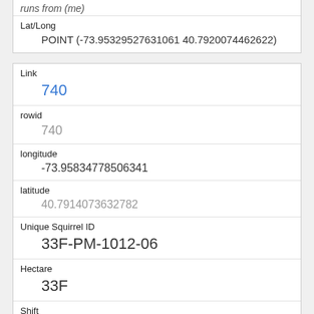| Lat/Long | POINT (-73.95329527631061 40.7920074462622) |
| Link | 740 |
| rowid | 740 |
| longitude | -73.95834778506341 |
| latitude | 40.7914073632782 |
| Unique Squirrel ID | 33F-PM-1012-06 |
| Hectare | 33F |
| Shift | PM |
| Date | 10122018 |
| Hectare Squirrel Number |  |